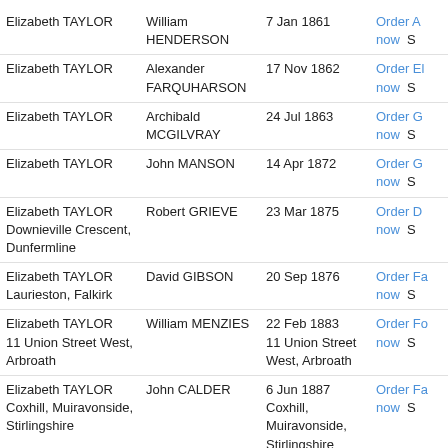| Name | Spouse | Date/Place | Actions |
| --- | --- | --- | --- |
| Elizabeth TAYLOR | William HENDERSON | 7 Jan 1861 | Order A now S |
| Elizabeth TAYLOR | Alexander FARQUHARSON | 17 Nov 1862 | Order El now S |
| Elizabeth TAYLOR | Archibald MCGILVRAY | 24 Jul 1863 | Order G now S |
| Elizabeth TAYLOR | John MANSON | 14 Apr 1872 | Order G now S |
| Elizabeth TAYLOR Downieville Crescent, Dunfermline | Robert GRIEVE | 23 Mar 1875 | Order D now S |
| Elizabeth TAYLOR Laurieston, Falkirk | David GIBSON | 20 Sep 1876 | Order Fa now S |
| Elizabeth TAYLOR 11 Union Street West, Arbroath | William MENZIES | 22 Feb 1883 11 Union Street West, Arbroath | Order Fo now S |
| Elizabeth TAYLOR Coxhill, Muiravonside, Stirlingshire | John CALDER | 6 Jun 1887 Coxhill, Muiravonside, Stirlingshire | Order Fa now S |